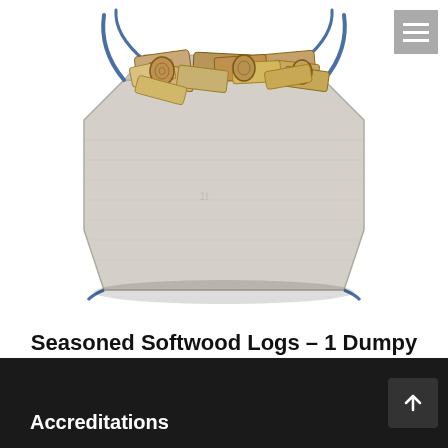[Figure (photo): A large white dumpy bag filled with seasoned softwood logs, with blue rope handles visible on the sides.]
Seasoned Softwood Logs – 1 Dumpy Bag
£75.00 £65.00
Accreditations